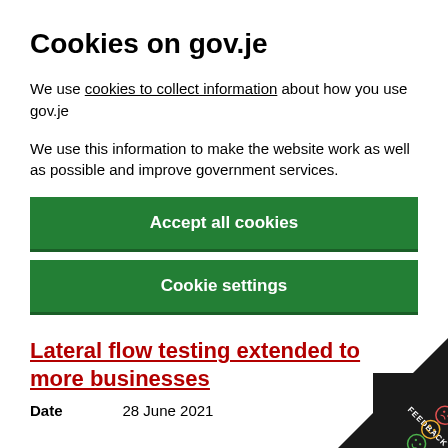Cookies on gov.je
We use cookies to collect information about how you use gov.je
We use this information to make the website work as well as possible and improve government services.
Accept all cookies
Cookie settings
Lateral flow testing extended to more businesses
Date    28 June 2021